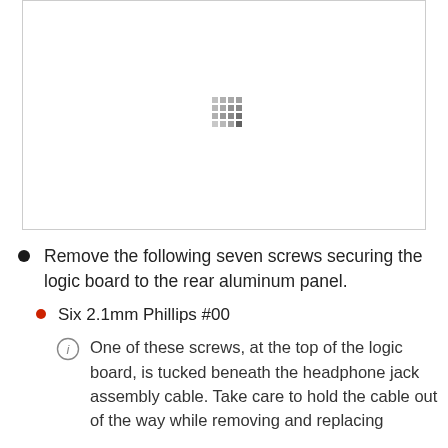[Figure (photo): A bordered white image area with a small pixel/loading indicator pattern centered in it, suggesting an image that did not fully load or is a placeholder for a hardware photo.]
Remove the following seven screws securing the logic board to the rear aluminum panel.
Six 2.1mm Phillips #00
One of these screws, at the top of the logic board, is tucked beneath the headphone jack assembly cable. Take care to hold the cable out of the way while removing and replacing